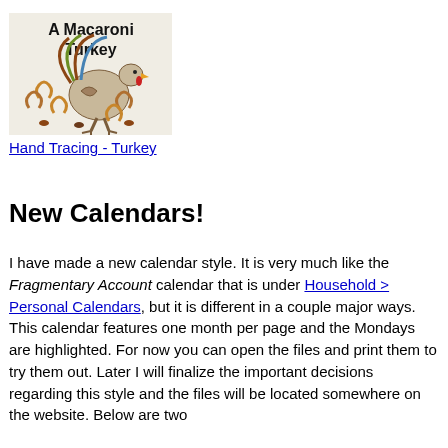[Figure (illustration): A child's hand-traced turkey drawing made from macaroni, with the text 'A Macaroni Turkey' written in the image. The drawing shows a turkey shape made from various pasta pieces on a light background.]
Hand Tracing - Turkey
New Calendars!
I have made a new calendar style. It is very much like the Fragmentary Account calendar that is under Household > Personal Calendars, but it is different in a couple major ways. This calendar features one month per page and the Mondays are highlighted. For now you can open the files and print them to try them out. Later I will finalize the important decisions regarding this style and the files will be located somewhere on the website. Below are two